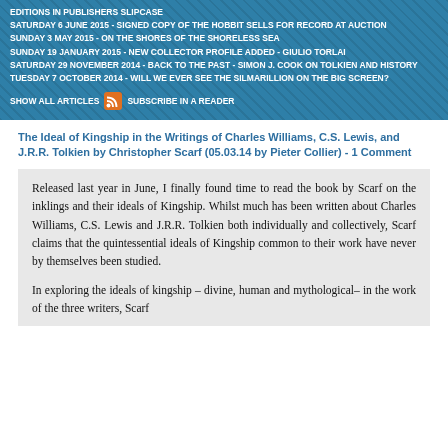EDITIONS IN PUBLISHERS SLIPCASE
SATURDAY 6 JUNE 2015 - SIGNED COPY OF THE HOBBIT SELLS FOR RECORD AT AUCTION
SUNDAY 3 MAY 2015 - ON THE SHORES OF THE SHORELESS SEA
SUNDAY 19 JANUARY 2015 - NEW COLLECTOR PROFILE ADDED - GIULIO TORLAI
SATURDAY 29 NOVEMBER 2014 - BACK TO THE PAST - SIMON J. COOK ON TOLKIEN AND HISTORY
TUESDAY 7 OCTOBER 2014 - WILL WE EVER SEE THE SILMARILLION ON THE BIG SCREEN?
SHOW ALL ARTICLES   SUBSCRIBE IN A READER
The Ideal of Kingship in the Writings of Charles Williams, C.S. Lewis, and J.R.R. Tolkien by Christopher Scarf (05.03.14 by Pieter Collier) - 1 Comment
Released last year in June, I finally found time to read the book by Scarf on the inklings and their ideals of Kingship. Whilst much has been written about Charles Williams, C.S. Lewis and J.R.R. Tolkien both individually and collectively, Scarf claims that the quintessential ideals of Kingship common to their work have never by themselves been studied.
In exploring the ideals of kingship – divine, human and mythological– in the work of the three writers, Scarf